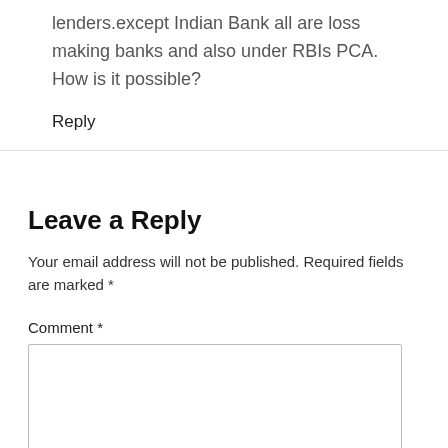lenders.except Indian Bank all are loss making banks and also under RBIs PCA. How is it possible?
Reply
Leave a Reply
Your email address will not be published. Required fields are marked *
Comment *